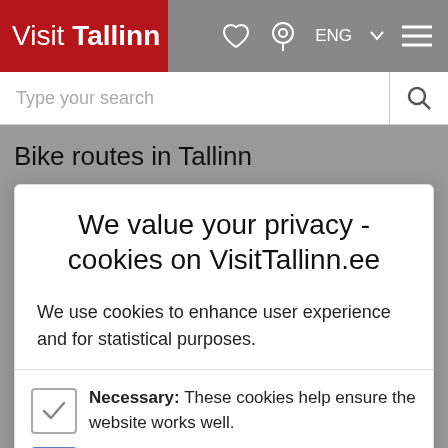Visit Tallinn
Type your search
Bike routes in Tallinn
We value your privacy - cookies on VisitTallinn.ee
We use cookies to enhance user experience and for statistical purposes.
Necessary: These cookies help ensure the website works well.
Preferences: These cookies save your